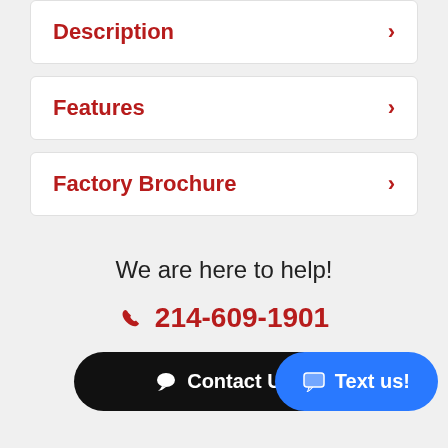Description
Features
Factory Brochure
We are here to help!
214-609-1901
Contact Us
Text us!